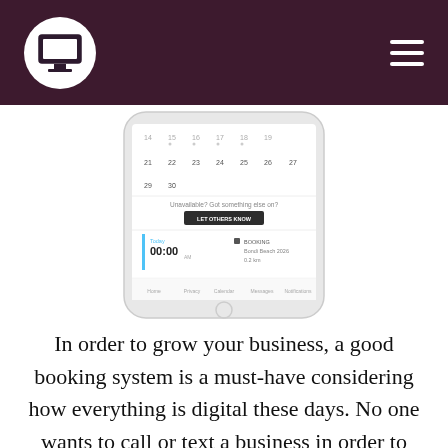[Figure (logo): Dark purple header bar with a white circle logo showing a desktop monitor icon on the left, and a hamburger menu icon (three horizontal lines) on the right.]
[Figure (screenshot): A smartphone screenshot showing a calendar booking app interface with date grid, 'Unavailable? Got something else on?' message, 'LET OTHERS KNOW' button, and booking details with time 00:00 and location Bondi Beach 2026.]
In order to grow your business, a good booking system is a must-have considering how everything is digital these days. No one wants to call or text a business in order to book or reserve something. If your business model